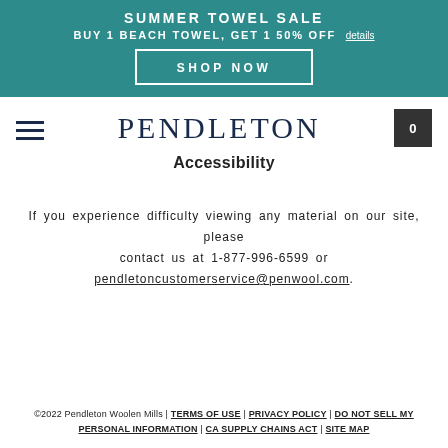SUMMER TOWEL SALE BUY 1 BEACH TOWEL, GET 1 50% OFF details SHOP NOW
[Figure (logo): Pendleton wordmark logo in dark navy serif font]
Accessibility
If you experience difficulty viewing any material on our site, please contact us at 1-877-996-6599 or pendletoncustomerservice@penwool.com.
©2022 Pendleton Woolen Mills | TERMS OF USE | PRIVACY POLICY | DO NOT SELL MY PERSONAL INFORMATION | CA SUPPLY CHAINS ACT | SITE MAP